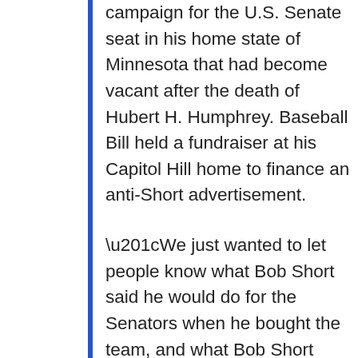campaign for the U.S. Senate seat in his home state of Minnesota that had become vacant after the death of Hubert H. Humphrey. Baseball Bill held a fundraiser at his Capitol Hill home to finance an anti-Short advertisement.
“We just wanted to let people know what Bob Short said he would do for the Senators when he bought the team, and what Bob Short actually did afterwards, and what a liar he was,” Baseball Bill says. The $3,000 raised at his party paid for a full-